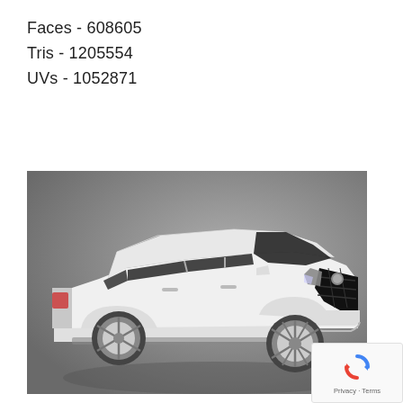Faces - 608605
Tris - 1205554
UVs - 1052871
[Figure (photo): 3D render of a white Cadillac Escalade SUV shown from a front three-quarter angle on a neutral gray gradient background. The vehicle is depicted in high detail showing the front grille, headlights, wheels, and side profile.]
[Figure (logo): Google reCAPTCHA badge with blue/red arrow logo icon and Privacy - Terms text below]